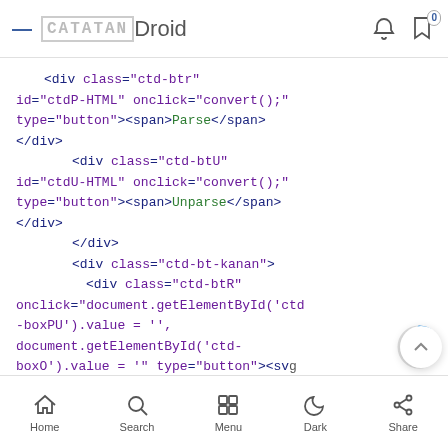CATATANDroid
[Figure (screenshot): Code block showing HTML snippet with div elements, class attributes, onclick handlers, and span tags for Parse and Unparse buttons, and a ctd-bt-kanan div with ctd-btR reset handler]
Home | Search | Menu | Dark | Share